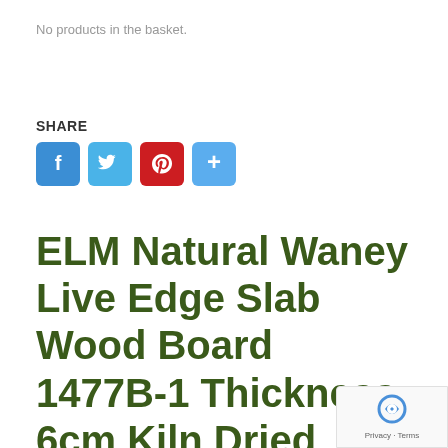No products in the basket.
SHARE
[Figure (infographic): Social share buttons: Facebook (blue), Twitter (light blue), Pinterest (red), Add/Plus (light blue)]
ELM Natural Waney Live Edge Slab Wood Board 1477B-1 Thickness 6cm Kiln Dried Planed Seasoned Hardwood